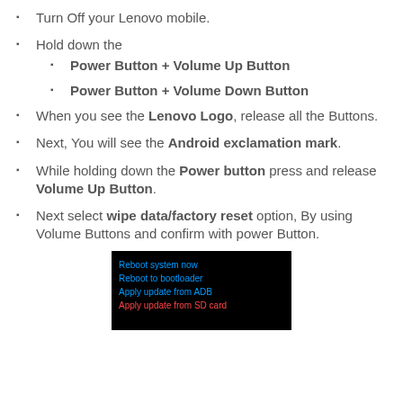Turn Off your Lenovo mobile.
Hold down the
Power Button + Volume Up Button
Power Button + Volume Down Button
When you see the Lenovo Logo, release all the Buttons.
Next, You will see the Android exclamation mark.
While holding down the Power button press and release Volume Up Button.
Next select wipe data/factory reset option, By using Volume Buttons and confirm with power Button.
[Figure (screenshot): Android recovery menu showing: Reboot system now, Reboot to bootloader, Apply update from ADB, Apply update from SD card]